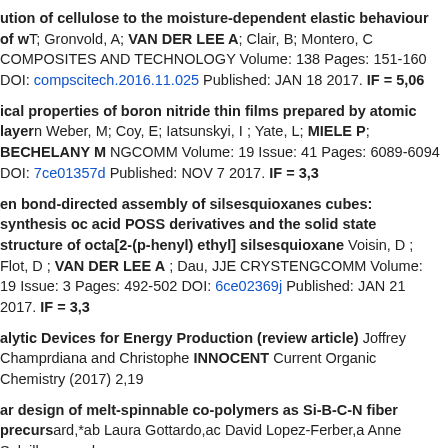ution of cellulose to the moisture-dependent elastic behaviour of w; T; Gronvold, A; VAN DER LEE A; Clair, B; Montero, C COMPOSITES AND TECHNOLOGY Volume: 138 Pages: 151-160 DOI: compscitech.2016.11.025 Published: JAN 18 2017. IF = 5,06
ical properties of boron nitride thin films prepared by atomic layer; n Weber, M; Coy, E; Iatsunskyi, I ; Yate, L; MIELE P; BECHELANY M; NGCOMM Volume: 19 Issue: 41 Pages: 6089-6094 DOI: 7ce01357d Published: NOV 7 2017. IF = 3,3
en bond-directed assembly of silsesquioxanes cubes: synthesis o; c acid POSS derivatives and the solid state structure of octa[2-(p-; henyl) ethyl] silsesquioxane Voisin, D ; Flot, D ; VAN DER LEE A ; D; au, JJE CRYSTENGCOMM Volume: 19 Issue: 3 Pages: 492-502 DOI: 6ce02369j Published: JAN 21 2017. IF = 3,3
alytic Devices for Energy Production (review article) Joffrey Champ; rdiana and Christophe INNOCENT Current Organic Chemistry (2017) 2; ,19
ar design of melt-spinnable co-polymers as Si-B-C-N fiber precurs; ard,*ab Laura Gottardo,ac David Lopez-Ferber,a Anne Soleilhavoup,d